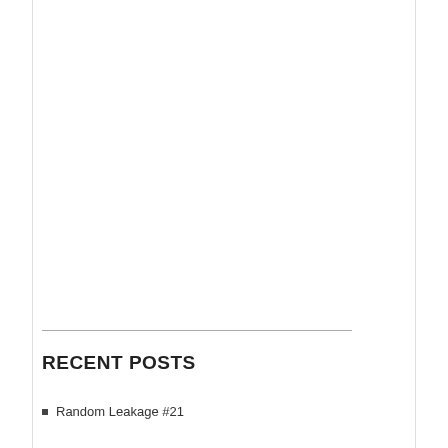RECENT POSTS
Random Leakage #21